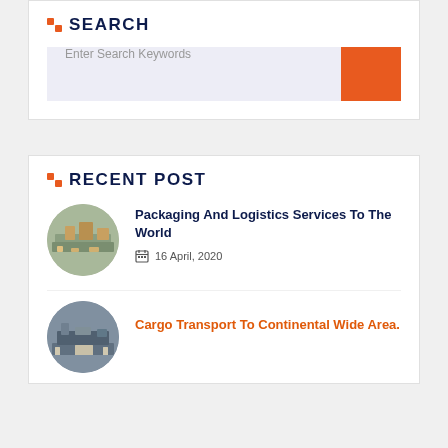SEARCH
Enter Search Keywords
RECENT POST
Packaging And Logistics Services To The World
16 April, 2020
Cargo Transport To Continental Wide Area.